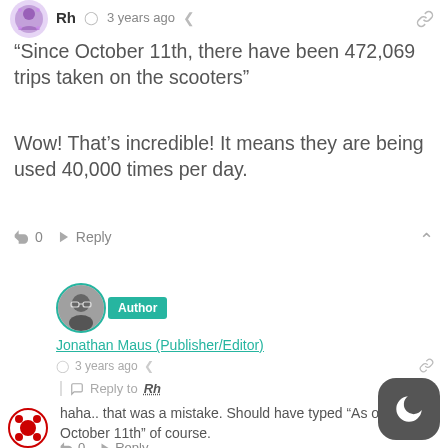[Figure (illustration): Purple/mauve decorative avatar icon at top left]
Rh  3 years ago
“Since October 11th, there have been 472,069 trips taken on the scooters”
Wow! That’s incredible! It means they are being used 40,000 times per day.
0  Reply
[Figure (photo): Circular profile photo of Jonathan Maus wearing glasses, with teal border]
Author
Jonathan Maus (Publisher/Editor)
3 years ago
Reply to Rh
haha.. that was a mistake. Should have typed “As of October 11th” of course.
0  Reply
[Figure (logo): CBC/Radio-Canada logo at bottom left]
[Figure (illustration): Dark mode toggle button with crescent moon icon at bottom right]